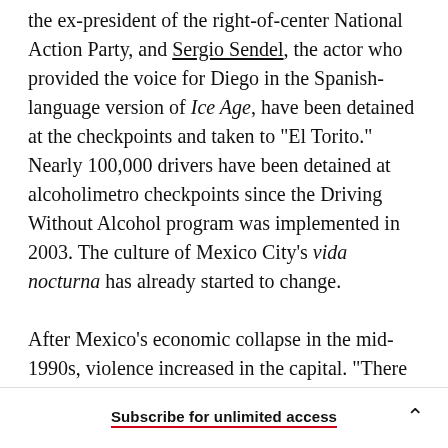the ex-president of the right-of-center National Action Party, and Sergio Sendel, the actor who provided the voice for Diego in the Spanish-language version of Ice Age, have been detained at the checkpoints and taken to "El Torito." Nearly 100,000 drivers have been detained at alcoholimetro checkpoints since the Driving Without Alcohol program was implemented in 2003. The culture of Mexico City's vida nocturna has already started to change.

After Mexico's economic collapse in the mid-1990s, violence increased in the capital. "There was
Subscribe for unlimited access